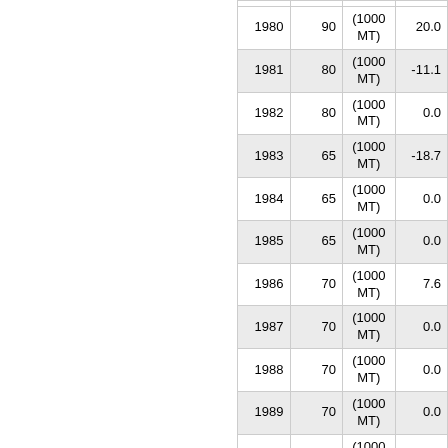| Year | Value | Unit | Change |
| --- | --- | --- | --- |
| 1980 | 90 | (1000 MT) | 20.0 |
| 1981 | 80 | (1000 MT) | -11.1 |
| 1982 | 80 | (1000 MT) | 0.0 |
| 1983 | 65 | (1000 MT) | -18.7 |
| 1984 | 65 | (1000 MT) | 0.0 |
| 1985 | 65 | (1000 MT) | 0.0 |
| 1986 | 70 | (1000 MT) | 7.6 |
| 1987 | 70 | (1000 MT) | 0.0 |
| 1988 | 70 | (1000 MT) | 0.0 |
| 1989 | 70 | (1000 MT) | 0.0 |
| 1990 | 70 | (1000 MT) | 0.0 |